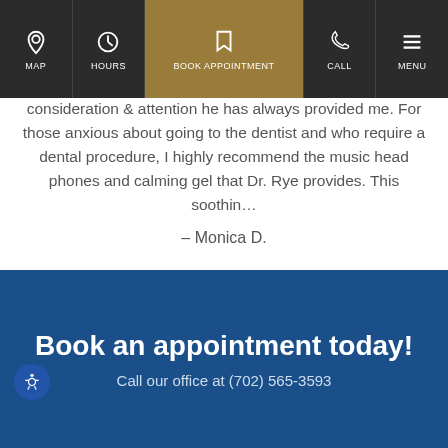MAP | HOURS | BOOK APPOINTMENT | CALL | MENU
have recommended him to several of my colleagues because of his state-of-the-art dental practice and the care, consideration & attention he has always provided me. For those anxious about going to the dentist and who require a dental procedure, I highly recommend the music head phones and calming gel that Dr. Rye provides. This soothin…
– Monica D.
READ MORE REVIEWS
Book an appointment today!
Call our office at (702) 565-3593